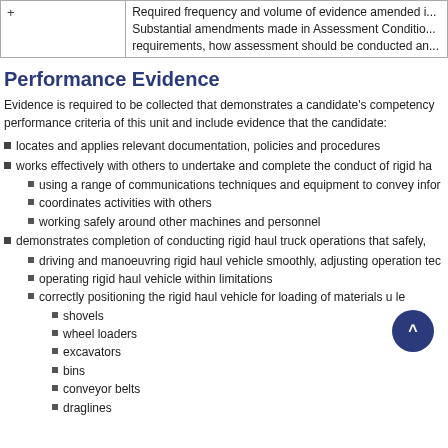|  |  |
| --- | --- |
| + | Required frequency and volume of evidence amended in. Substantial amendments made in Assessment Condition requirements, how assessment should be conducted an |
Performance Evidence
Evidence is required to be collected that demonstrates a candidate's competency performance criteria of this unit and include evidence that the candidate:
locates and applies relevant documentation, policies and procedures
works effectively with others to undertake and complete the conduct of rigid ha
using a range of communications techniques and equipment to convey infor
coordinates activities with others
working safely around other machines and personnel
demonstrates completion of conducting rigid haul truck operations that safely,
driving and manoeuvring rigid haul vehicle smoothly, adjusting operation tec
operating rigid haul vehicle within limitations
correctly positioning the rigid haul vehicle for loading of materials u le
shovels
wheel loaders
excavators
bins
conveyor belts
draglines